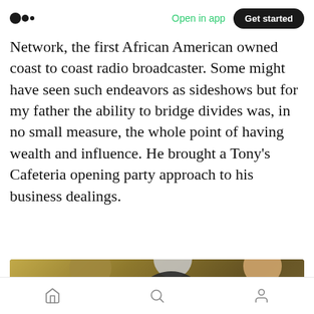Open in app | Get started
Network, the first African American owned coast to coast radio broadcaster. Some might have seen such endeavors as sideshows but for my father the ability to bridge divides was, in no small measure, the whole point of having wealth and influence. He brought a Tony's Cafeteria opening party approach to his business dealings.
[Figure (photo): A dimly lit photograph showing three people: a woman with light hair on the left, a man with glasses in the center wearing a dark suit, and a woman on the right wearing a light-colored head covering. A reaction pill overlay shows a clapping icon, the number 8, and a speech bubble icon.]
Home | Search | Profile